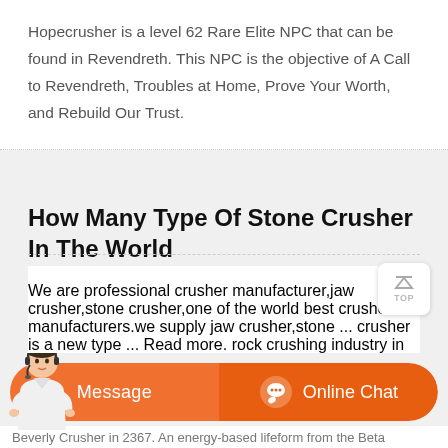Hopecrusher is a level 62 Rare Elite NPC that can be found in Revendreth. This NPC is the objective of A Call to Revendreth, Troubles at Home, Prove Your Worth, and Rebuild Our Trust.
How Many Type Of Stone Crusher In The World
We are professional crusher manufacturer,jaw crusher,stone crusher,one of the world best crusher manufacturers.we supply jaw crusher,stone ... crusher is a new type ... Read more. rock crushing industry in world... and offer types of stone crusher machines for sale with best price for quarry and mining industry all ... As so many rock crusher ...
[Figure (other): Orange chat bar with Message and Online Chat buttons, and a customer service avatar]
Beverly Crusher in 2367. An energy-based lifeform from the Beta